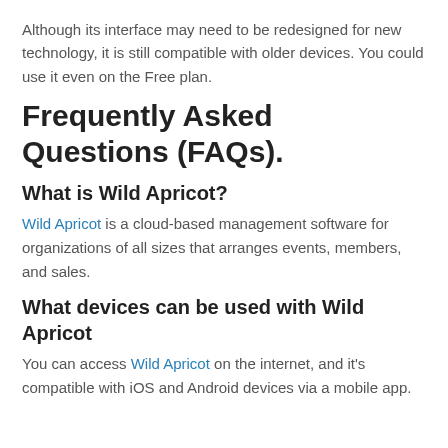Although its interface may need to be redesigned for new technology, it is still compatible with older devices. You could use it even on the Free plan.
Frequently Asked Questions (FAQs).
What is Wild Apricot?
Wild Apricot is a cloud-based management software for organizations of all sizes that arranges events, members, and sales.
What devices can be used with Wild Apricot
You can access Wild Apricot on the internet, and it's compatible with iOS and Android devices via a mobile app.